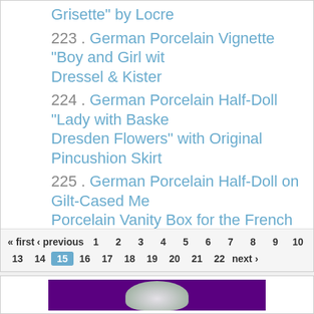Grisette" by Locre
223. German Porcelain Vignette "Boy and Girl wit... Dressel & Kister
224. German Porcelain Half-Doll "Lady with Baske... Dresden Flowers" with Original Pincushion Skirt
225. German Porcelain Half-Doll on Gilt-Cased Me... Porcelain Vanity Box for the French Market
226. Fine German Porcelain Figure "Lady in Pink G... Reticule" by Dressel & Kister
« first ‹ previous 1 2 3 4 5 6 7 8 9 10 13 14 15 16 17 18 19 20 21 22 next ›
[Figure (photo): Purple background with partial view of a white porcelain figurine at bottom]